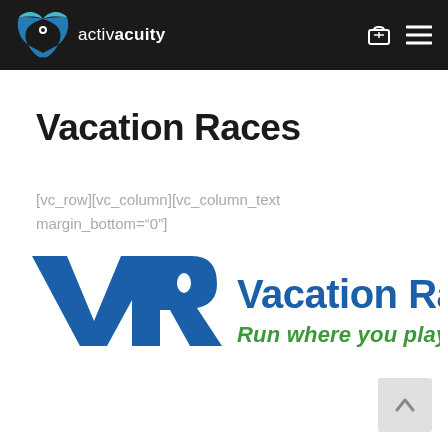activacuity
Vacation Races
[vc_row][vc_column][vc_column_text margin_bottom="0"]
[Figure (logo): Vacation Races logo with VR monogram in blue and text 'Vacation Races - Run where you play' in blue and green italic]